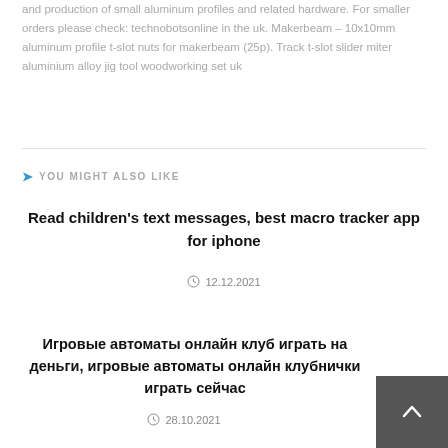and production of small aluminum profiles and related hardware. For smaller orders please check: technobotsonline in the uk. Makerbeam – 10x10mm aluminum profile t-slot nuts for makerbeam (25p). Track t-slot slider miter aluminium alloy jig tool woodworking set uk
YOU MIGHT ALSO LIKE
Read children's text messages, best macro tracker app for iphone
12.12.2021
Игровые автоматы онлайн клуб играть на деньги, игровые автоматы онлайн клубнички играть сейчас
28.10.2021